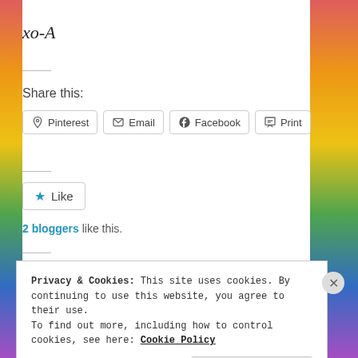xo-A
Share this:
Pinterest  Email  Facebook  Print
Like
2 bloggers like this.
Privacy & Cookies: This site uses cookies. By continuing to use this website, you agree to their use.
To find out more, including how to control cookies, see here: Cookie Policy
Close and accept